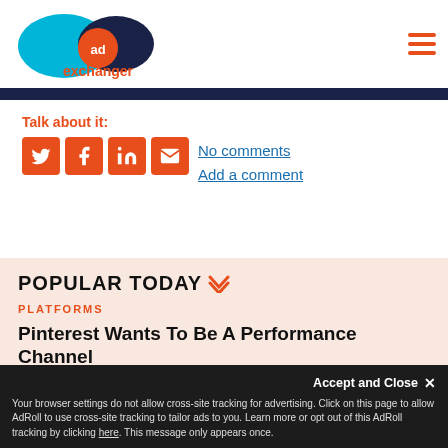AdExchanger
Talk about it:
No comments
Add a comment
POPULAR TODAY
PLATFORMS
Pinterest Wants To Be A Performance Channel
Meta's Automated Shopping Campaigns...
Accept and Close ×
Your browser settings do not allow cross-site tracking for advertising. Click on this page to allow AdRoll to use cross-site tracking to tailor ads to you. Learn more or opt out of this AdRoll tracking by clicking here. This message only appears once.